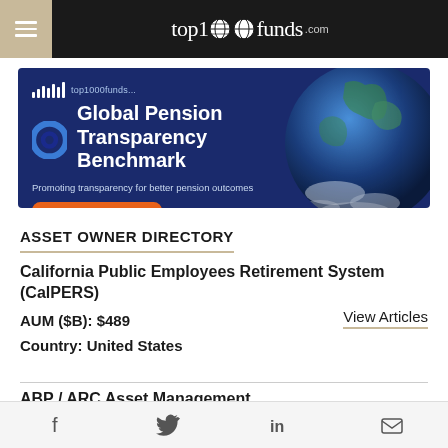top1000funds.com
[Figure (infographic): Global Pension Transparency Benchmark banner ad with blue background, globe image, and orange button reading 'Explore results and analysis']
ASSET OWNER DIRECTORY
California Public Employees Retirement System (CalPERS)
AUM ($B): $489
Country: United States
View Articles
ABP / ARC Asset Management